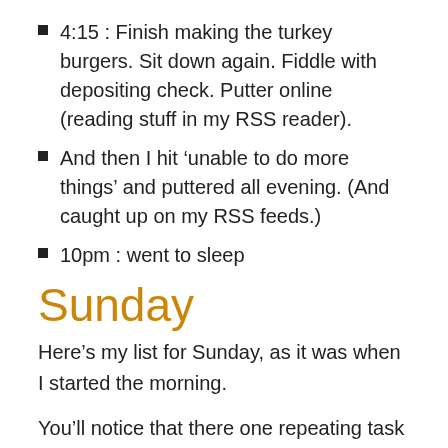4:15 : Finish making the turkey burgers. Sit down again. Fiddle with depositing check. Putter online (reading stuff in my RSS reader).
And then I hit ‘unable to do more things’ and puttered all evening. (And caught up on my RSS feeds.)
10pm : went to sleep
Sunday
Here’s my list for Sunday, as it was when I started the morning.
You’ll notice that there one repeating task (my standard ‘prep things for the work day tomorrow’ task that reminds me of the specific things I usually